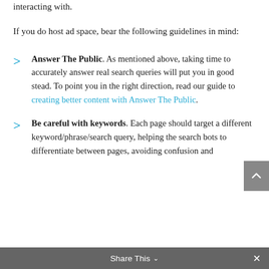interacting with.
If you do host ad space, bear the following guidelines in mind:
Answer The Public. As mentioned above, taking time to accurately answer real search queries will put you in good stead. To point you in the right direction, read our guide to creating better content with Answer The Public.
Be careful with keywords. Each page should target a different keyword/phrase/search query, helping the search bots to differentiate between pages, avoiding confusion and
Share This ∨  ×